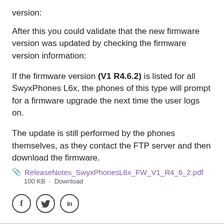version:
After this you could validate that the new firmware version was updated by checking the firmware version information:
If the firmware version (V1 R4.6.2) is listed for all SwyxPhones L6x, the phones of this type will prompt for a firmware upgrade the next time the user logs on.
The update is still performed by the phones themselves, as they contact the FTP server and then download the firmware.
ReleaseNotes_SwyxPhonesL6x_FW_V1_R4_6_2.pdf
100 KB · Download
[Figure (other): Social media share icons: Facebook (f), Twitter (bird), LinkedIn (in)]